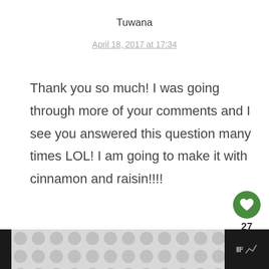Tuwana
April 18, 2017 at 17:34
Thank you so much! I was going through more of your comments and I see you answered this question many times LOL! I am going to make it with cinnamon and raisin!!!!
[Figure (infographic): Like button (heart icon) with count 27 and share button]
[Figure (infographic): Bottom bar with decorative polka-dot pattern and logo]